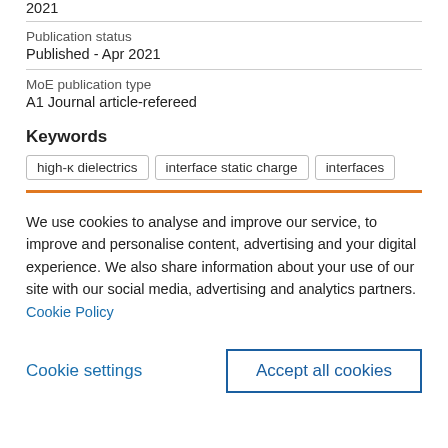2021
Publication status
Published - Apr 2021
MoE publication type
A1 Journal article-refereed
Keywords
high-κ dielectrics
interface static charge
interfaces
We use cookies to analyse and improve our service, to improve and personalise content, advertising and your digital experience. We also share information about your use of our site with our social media, advertising and analytics partners.  Cookie Policy
Cookie settings
Accept all cookies